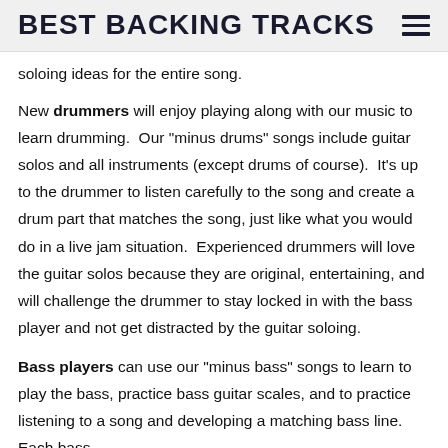BEST BACKING TRACKS
soloing ideas for the entire song.
New drummers will enjoy playing along with our music to learn drumming.  Our "minus drums" songs include guitar solos and all instruments (except drums of course).  It's up to the drummer to listen carefully to the song and create a drum part that matches the song, just like what you would do in a live jam situation.  Experienced drummers will love the guitar solos because they are original, entertaining, and will challenge the drummer to stay locked in with the bass player and not get distracted by the guitar soloing.
Bass players can use our "minus bass" songs to learn to play the bass, practice bass guitar scales, and to practice listening to a song and developing a matching bass line.  Each bass